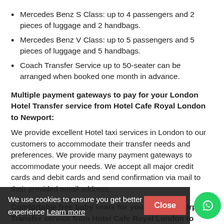Mercedes Benz S Class: up to 4 passengers and 2 pieces of luggage and 2 handbags.
Mercedes Benz V Class: up to 5 passengers and 5 pieces of luggage and 5 handbags.
Coach Transfer Service up to 50-seater can be arranged when booked one month in advance.
Multiple payment gateways to pay for your London Hotel Transfer service from Hotel Cafe Royal London to Newport:
We provide excellent Hotel taxi services in London to our customers to accommodate their transfer needs and preferences. We provide many payment gateways to accommodate your needs. We accept all major credit cards and debit cards and send confirmation via mail to their provided email address.
Comfortable free baby seats for your England Airport Transfer service from Hotel Cafe Royal London to Newport
We also provide comfortable baby seats and booster seats free to our customers and there are no extra charges for it.
Once your transfer from Hotel Cafe Roy... to re...port
We use cookies to ensure you get better experience Learn more
Close